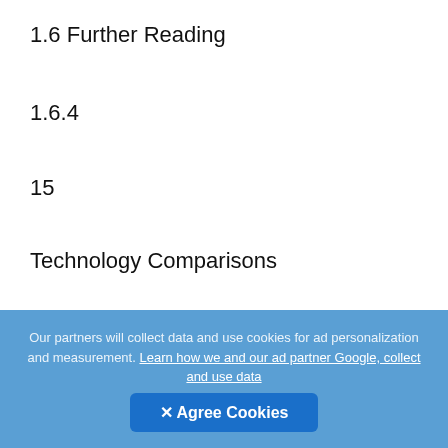1.6 Further Reading
1.6.4
15
Technology Comparisons
A number of papers that emerged from the Middleware Technology Evaluation (MTE) project give a good introduction into the issues and complexities of technology comparisons. R... J.Gosper, I.Gorton. Evaluating the Sustained Performance of COTS-based Messaging Systems. in